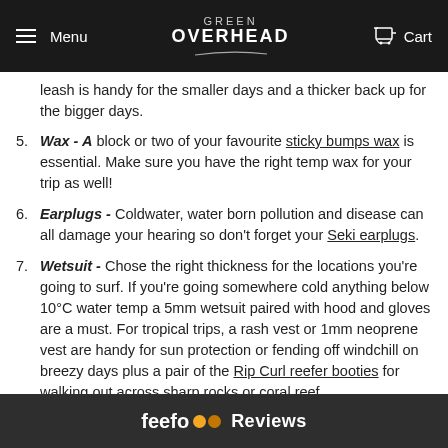Menu | GREEN OVERHEAD | Cart
leash is handy for the smaller days and a thicker back up for the bigger days.
5. Wax - A block or two of your favourite sticky bumps wax is essential. Make sure you have the right temp wax for your trip as well!
6. Earplugs - Coldwater, water born pollution and disease can all damage your hearing so don't forget your Seki earplugs.
7. Wetsuit - Chose the right thickness for the locations you're going to surf. If you're going somewhere cold anything below 10°C water temp a 5mm wetsuit paired with hood and gloves are a must. For tropical trips, a rash vest or 1mm neoprene vest are handy for sun protection or fending off windchill on breezy days plus a pair of the Rip Curl reefer booties for walking out across sharp rocks or coral reef.
8. Ding Repair - Our go to is the Ocean & Earth Solacure resin which is a fibre filled suncure resin that is available for either PU or Epoxy boards. Alternatively... perfect solution for small dings an... so recommend
[Figure (other): Feefo Reviews overlay bar at the bottom of the page]